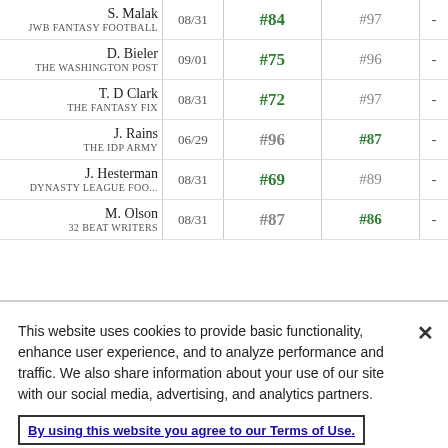| Expert | Date | Rank Col1 | Rank Col2 |  |
| --- | --- | --- | --- | --- |
| S. Malak
JWB FANTASY FOOTBALL | 08/31 | #84 | #97 | - |
| D. Bieler
THE WASHINGTON POST | 09/01 | #75 | #96 | - |
| T. D Clark
THE FANTASY FIX | 08/31 | #72 | #97 | - |
| J. Rains
THE IDP ARMY | 06/29 | #96 | #87 | - |
| J. Hesterman
DYNASTY LEAGUE FOO... | 08/31 | #69 | #89 | - |
| M. Olson
32 BEAT WRITERS | 08/31 | #87 | #86 | - |
This website uses cookies to provide basic functionality, enhance user experience, and to analyze performance and traffic. We also share information about your use of our site with our social media, advertising, and analytics partners.
By using this website you agree to our Terms of Use.
Do Not Sell My Personal Information
Accept Cookies